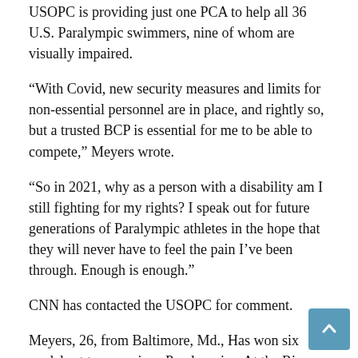USOPC is providing just one PCA to help all 36 U.S. Paralympic swimmers, nine of whom are visually impaired.
“With Covid, new security measures and limits for non-essential personnel are in place, and rightly so, but a trusted BCP is essential for me to be able to compete,” Meyers wrote.
“So in 2021, why as a person with a disability am I still fighting for my rights? I speak out for future generations of Paralympic athletes in the hope that they will never have to feel the pain I’ve been through. Enough is enough.”
CNN has contacted the USOPC for comment.
Meyers, 26, from Baltimore, Md., Has won six medals at two previous Paralympics. At the Rio Games in 2016, she won three gold medals in the 100-meter butterfly, 200-meter individual medley and 400-meter freestyle.
She suffers from Usher syndrome, a genetic condition that causes deafness or hearing loss and retinitis pigmentosa, an e...